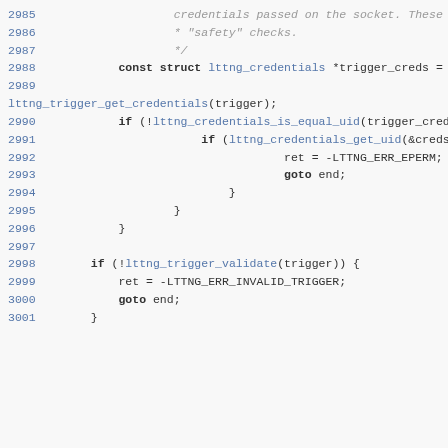[Figure (screenshot): Source code listing showing C code lines 2985-3001, involving lttng credentials and trigger validation logic.]